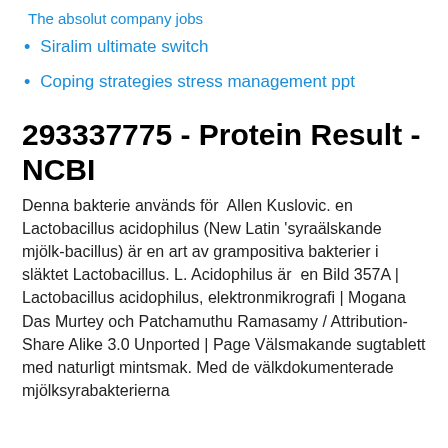The absolut company jobs
Siralim ultimate switch
Coping strategies stress management ppt
293337775 - Protein Result - NCBI
Denna bakterie används för  Allen Kuslovic. en Lactobacillus acidophilus (New Latin 'syraälskande mjölk-bacillus) är en art av grampositiva bakterier i släktet Lactobacillus. L. Acidophilus är  en Bild 357A | Lactobacillus acidophilus, elektronmikrografi | Mogana Das Murtey och Patchamuthu Ramasamy / Attribution-Share Alike 3.0 Unported | Page Välsmakande sugtablett med naturligt mintsmak. Med de välkdokumenterade mjölksyrabakterierna